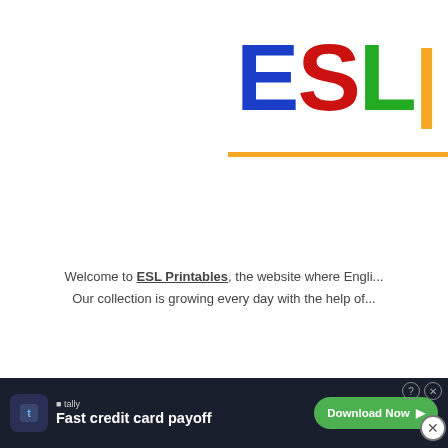[Figure (logo): ESL Printables logo with large colorful letters E (blue), S (red), L (green/yellow) on white background, top right corner]
Welcome to ESL Printables, the website where Engli... Our collection is growing every day with the help of...
[Figure (screenshot): Video player showing a dog (border collie) sitting on grass with play button overlay and text 'Never Too Late To Train Your Dog, Experts Say']
Prepositions worksheets:
Grammar worksheets > Prepositions
[Figure (screenshot): Worksheet thumbnail previews at bottom of page]
[Figure (screenshot): Tally advertisement banner: Fast credit card payoff, Download Now button]